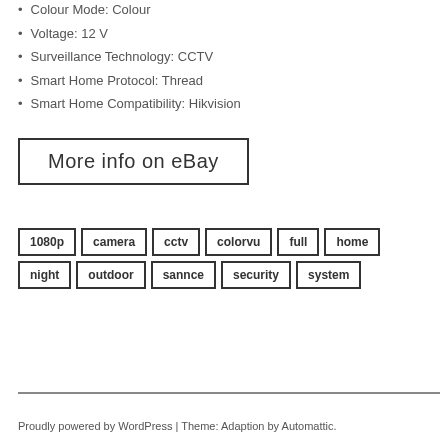Colour Mode: Colour
Voltage: 12 V
Surveillance Technology: CCTV
Smart Home Protocol: Thread
Smart Home Compatibility: Hikvision
[Figure (other): Button labeled 'More info on eBay' with a rectangular border]
1080p  camera  cctv  colorvu  full  home  night  outdoor  sannce  security  system
Proudly powered by WordPress | Theme: Adaption by Automattic.